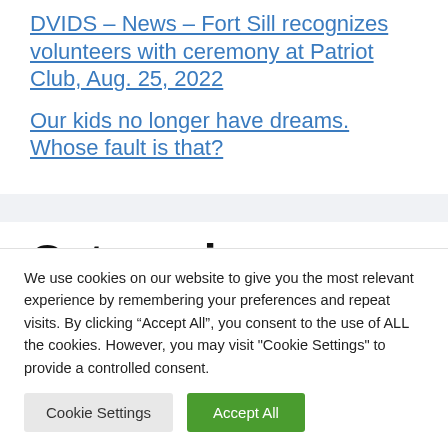DVIDS – News – Fort Sill recognizes volunteers with ceremony at Patriot Club, Aug. 25, 2022
Our kids no longer have dreams. Whose fault is that?
Categories
We use cookies on our website to give you the most relevant experience by remembering your preferences and repeat visits. By clicking “Accept All”, you consent to the use of ALL the cookies. However, you may visit "Cookie Settings" to provide a controlled consent.